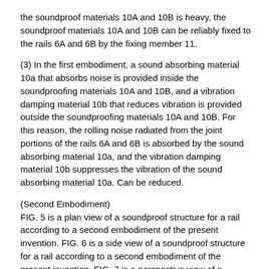the soundproof materials 10A and 10B is heavy, the soundproof materials 10A and 10B can be reliably fixed to the rails 6A and 6B by the fixing member 11.
(3) In the first embodiment, a sound absorbing material 10a that absorbs noise is provided inside the soundproofing materials 10A and 10B, and a vibration damping material 10b that reduces vibration is provided outside the soundproofing materials 10A and 10B. For this reason, the rolling noise radiated from the joint portions of the rails 6A and 6B is absorbed by the sound absorbing material 10a, and the vibration damping material 10b suppresses the vibration of the sound absorbing material 10a. Can be reduced.
(Second Embodiment) FIG. 5 is a plan view of a soundproof structure for a rail according to a second embodiment of the present invention. FIG. 6 is a side view of a soundproof structure for a rail according to a second embodiment of the present invention. FIG. 7 is a perspective view of a soundproof structure for a rail according to the second embodiment of the present invention. 8 is a cross-sectional view showing